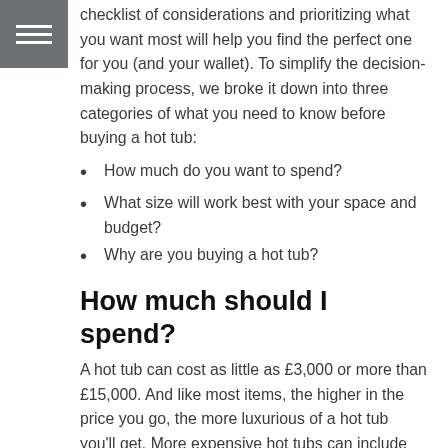checklist of considerations and prioritizing what you want most will help you find the perfect one for you (and your wallet). To simplify the decision-making process, we broke it down into three categories of what you need to know before buying a hot tub:
How much do you want to spend?
What size will work best with your space and budget?
Why are you buying a hot tub?
How much should I spend?
A hot tub can cost as little as £3,000 or more than £15,000. And like most items, the higher in the price you go, the more luxurious of a hot tub you'll get. More expensive hot tubs can include the latest technology, higher quality...